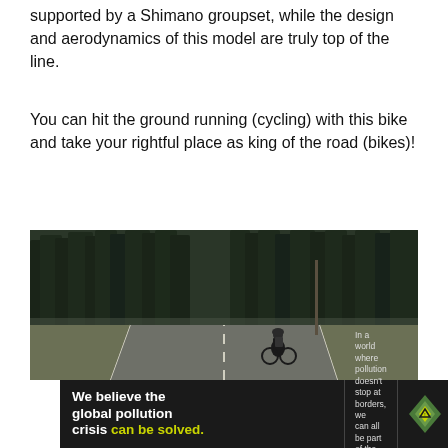supported by a Shimano groupset, while the design and aerodynamics of this model are truly top of the line.
You can hit the ground running (cycling) with this bike and take your rightful place as king of the road (bikes)!
[Figure (photo): A cyclist riding a road bike from behind on a winding road surrounded by dense dark green forest trees.]
[Figure (infographic): Pure Earth advertisement banner with dark background. Left: bold white text 'We believe the global pollution crisis can be solved.' with 'can be solved.' in yellow-green. Middle: small text about pollution crossing borders and being part of the solution, with 'JOIN US.' in yellow-green. Right: Pure Earth logo with diamond/mountain icon and white bold text 'PURE EARTH'.]